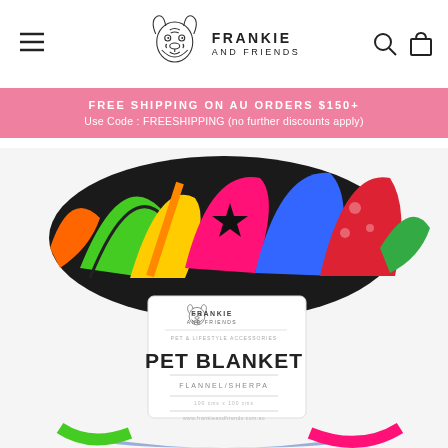[Figure (logo): Frankie and Friends logo with French bulldog line drawing and brand name text]
FREE SHIPPING ON AU ORDERS $150+
Use Code: FREESHIPPING (no further discounts apply)
[Figure (photo): Colorful pop-art style pet blanket rolled up showing Frankie and Friends label with text PET BLANKET FLANNEL/SHERPA]